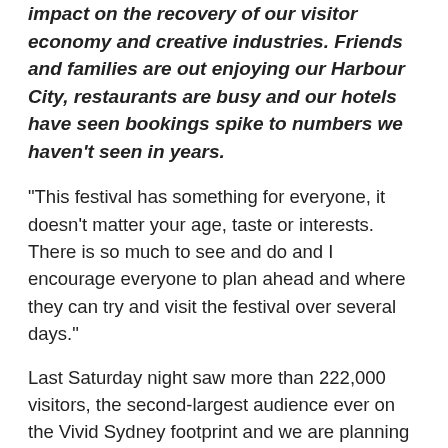impact on the recovery of our visitor economy and creative industries. Friends and families are out enjoying our Harbour City, restaurants are busy and our hotels have seen bookings spike to numbers we haven't seen in years.
“This festival has something for everyone, it doesn’t matter your age, taste or interests. There is so much to see and do and I encourage everyone to plan ahead and where they can try and visit the festival over several days.”
Last Saturday night saw more than 222,000 visitors, the second-largest audience ever on the Vivid Sydney footprint and we are planning for more than 500,000 over the four nights of the long weekend.
Restaurants on the Vivid Sydney footprint recorded more than 300,000 patrons since the festival began, 19 per cent higher than at this point in 2019. More than 82 per cent of attendees are purchasing food and beverages on the footprint.